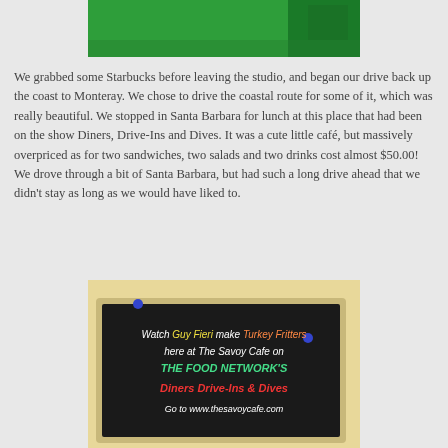[Figure (photo): Top portion of a photo showing a bright green fabric or background, partially cropped.]
We grabbed some Starbucks before leaving the studio, and began our drive back up the coast to Monteray. We chose to drive the coastal route for some of it, which was really beautiful. We stopped in Santa Barbara for lunch at this place that had been on the show Diners, Drive-Ins and Dives. It was a cute little café, but massively overpriced as for two sandwiches, two salads and two drinks cost almost $50.00! We drove through a bit of Santa Barbara, but had such a long drive ahead that we didn't stay as long as we would have liked to.
[Figure (photo): A chalkboard sign reading: Watch Guy Fieri make Turkey Fritters here at The Savoy Cafe on THE FOOD NETWORK'S Diners Drive-Ins & Dives. Go to www.thesavoycafe.com]